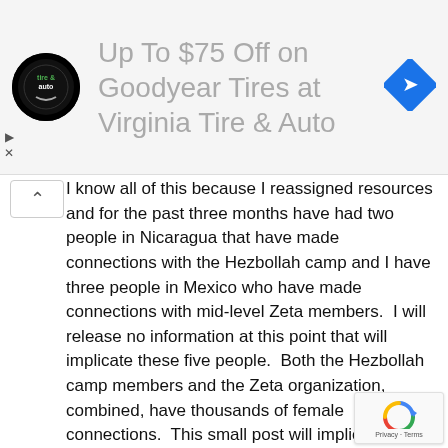[Figure (screenshot): Advertisement banner for Virginia Tire & Auto with logo, text 'Up To $75 Off on Goodyear Tires at Virginia Tire & Auto', and a blue navigation icon on the right.]
I know all of this because I reassigned resources and for the past three months have had two people in Nicaragua that have made connections with the Hezbollah camp and I have three people in Mexico who have made connections with mid-level Zeta members.  I will release no information at this point that will implicate these five people.  Both the Hezbollah camp members and the Zeta organization, combined, have thousands of female connections.  This small post will implicate no one.
Anyone who is truly interested in deeper process of what is happening can infer the truth from the information provided in this post.  I have provided everything you need.
Belize is still a pirate haven.  The stakes